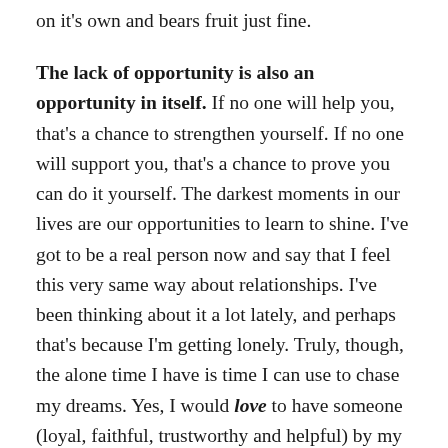on it's own and bears fruit just fine.
The lack of opportunity is also an opportunity in itself.
If no one will help you, that's a chance to strengthen yourself. If no one will support you, that's a chance to prove you can do it yourself. The darkest moments in our lives are our opportunities to learn to shine. I've got to be a real person now and say that I feel this very same way about relationships. I've been thinking about it a lot lately, and perhaps that's because I'm getting lonely. Truly, though, the alone time I have is time I can use to chase my dreams. Yes, I would love to have someone (loyal, faithful, trustworthy and helpful) by my side, but until then, I have to be everything I need